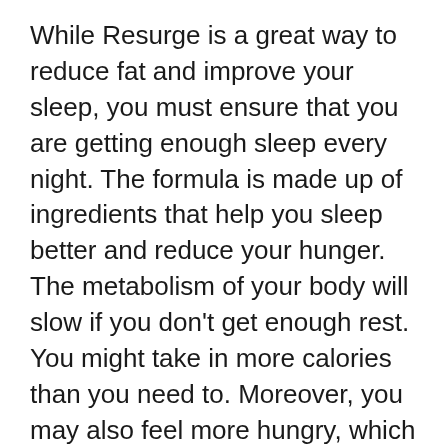While Resurge is a great way to reduce fat and improve your sleep, you must ensure that you are getting enough sleep every night. The formula is made up of ingredients that help you sleep better and reduce your hunger. The metabolism of your body will slow if you don't get enough rest. You might take in more calories than you need to. Moreover, you may also feel more hungry, which may lead to weight growth. To increase your energy levels you should not skip sleep.
Resurge is a product that is designed to give an overnight boost to your body. It will help you sleep deeper, and this means you'll awake feeling more energized and energetic